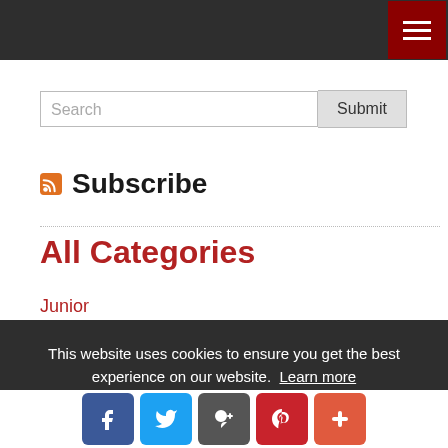[Figure (screenshot): Dark top navigation bar with hamburger menu button (dark red background, three white lines)]
Search
Submit
Subscribe
All Categories
Junior
This website uses cookies to ensure you get the best experience on our website. Learn more
Got it!
[Figure (screenshot): Social sharing buttons: Facebook (blue), Twitter (light blue), Google+ (grey), Pinterest (red), Plus (orange-red)]